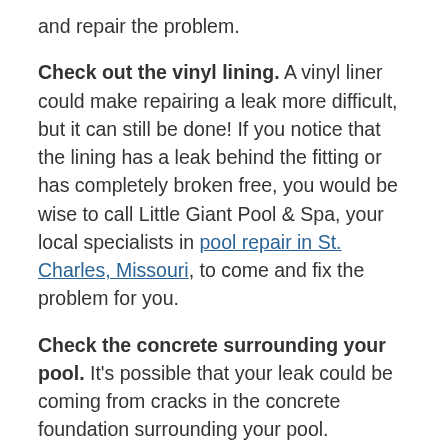and repair the problem.
Check out the vinyl lining. A vinyl liner could make repairing a leak more difficult, but it can still be done! If you notice that the lining has a leak behind the fitting or has completely broken free, you would be wise to call Little Giant Pool & Spa, your local specialists in pool repair in St. Charles, Missouri, to come and fix the problem for you.
Check the concrete surrounding your pool. It's possible that your leak could be coming from cracks in the concrete foundation surrounding your pool. Squeeze some food coloring near cracks in your concrete and if the liquid gets sucked into the crack, it may signify that there is a leak. These can be patched yourself or you can call a pool repair specialist to complete the job for